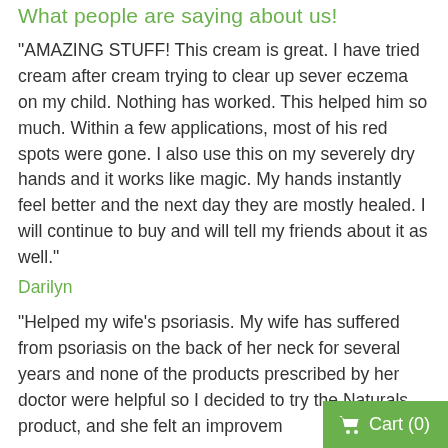What people are saying about us!
"AMAZING STUFF! This cream is great. I have tried cream after cream trying to clear up sever eczema on my child. Nothing has worked. This helped him so much. Within a few applications, most of his red spots were gone. I also use this on my severely dry hands and it works like magic. My hands instantly feel better and the next day they are mostly healed. I will continue to buy and will tell my friends about it as well."
Darilyn
“Helped my wife’s psoriasis. My wife has suffered from psoriasis on the back of her neck for several years and none of the products prescribed by her doctor were helpful so I decided to try the Naturals product, and she felt an improvem…